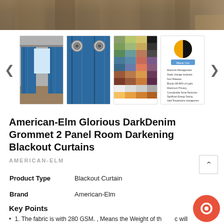[Figure (photo): Hero image of curtains with wooden floor background at top of page]
[Figure (photo): Thumbnail gallery showing: blue curtains in room, close-up curtain fabric with chrome grommets, color swatches grid, blackout curtain feature info card]
American-Elm Glorious DarkDenim Grommet 2 Panel Room Darkening Blackout Curtains
AMERICAN-ELM
| Product Type | Blackout Curtain |
| Brand | American-Elm |
Key Points
1. The fabric is with 280 GSM. , Means the Weight of the Fabric will be 280 Grams per Square Metre. Please Order Extra Curtains